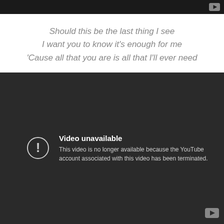[Figure (screenshot): Dark video player bar at top with YouTube play icon button in top-right corner]
Should this be the last thing I see
I want you to know it's enough for me
'Cause all that you are is all that I'll ever need
[Figure (screenshot): YouTube video unavailable error screen with dark background, exclamation icon in circle, bold text 'Video unavailable', and message 'This video is no longer available because the YouTube account associated with this video has been terminated.' YouTube logo button in bottom-right.]